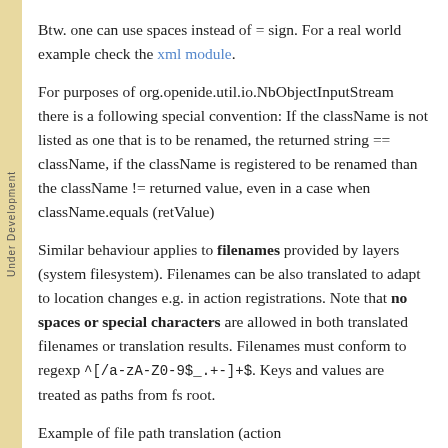Btw. one can use spaces instead of = sign. For a real world example check the xml module.
For purposes of org.openide.util.io.NbObjectInputStream there is a following special convention: If the className is not listed as one that is to be renamed, the returned string == className, if the className is registered to be renamed than the className != returned value, even in a case when className.equals (retValue)
Similar behaviour applies to filenames provided by layers (system filesystem). Filenames can be also translated to adapt to location changes e.g. in action registrations. Note that no spaces or special characters are allowed in both translated filenames or translation results. Filenames must conform to regexp ^[/a-zA-Z0-9$_.+-]+$. Keys and values are treated as paths from fs root.
Example of file path translation (action